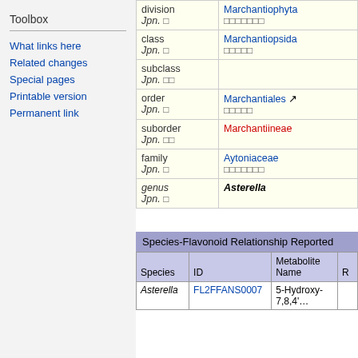Toolbox
What links here
Related changes
Special pages
Printable version
Permanent link
|  |  |
| --- | --- |
| division
Jpn. □ | Marchantiophyta
□□□□□□□ |
| class
Jpn. □ | Marchantiopsida
□□□□□ |
| subclass
Jpn. □□ |  |
| order
Jpn. □ | Marchantiales □
□□□□□ |
| suborder
Jpn. □□ | Marchantiineae |
| family
Jpn. □ | Aytoniaceae
□□□□□□□ |
| genus
Jpn. □ | Asterella |
Species-Flavonoid Relationship Reported
| Species | ID | Metabolite Name | R… |
| --- | --- | --- | --- |
| Asterella | FL2FFANS0007 | 5-Hydroxy-7,8,4'… | … |